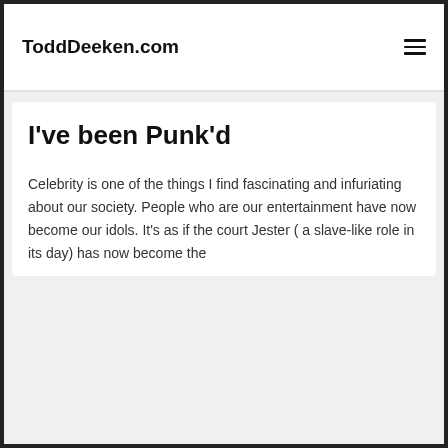ToddDeeken.com
I've been Punk'd
Celebrity is one of the things I find fascinating and infuriating about our society. People who are our entertainment have now become our idols. It's as if the court Jester ( a slave-like role in its day) has now become the